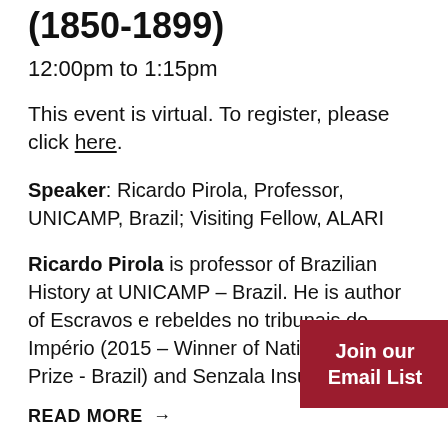(1850-1899)
12:00pm to 1:15pm
This event is virtual. To register, please click here.
Speaker: Ricardo Pirola, Professor, UNICAMP, Brazil; Visiting Fellow, ALARI
Ricardo Pirola is professor of Brazilian History at UNICAMP – Brazil. He is author of Escravos e rebeldes no tribunais do Império (2015 – Winner of National Archive Prize - Brazil) and Senzala Insurgente (...
READ MORE →
Join our Email List